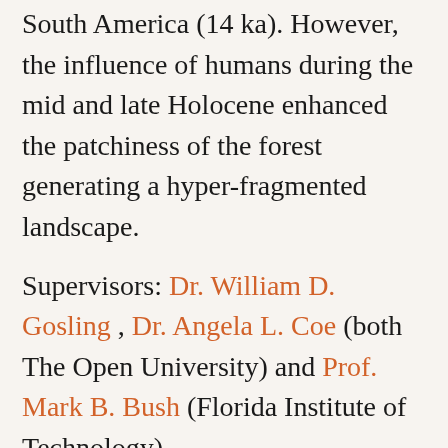South America (14 ka). However, the influence of humans during the mid and late Holocene enhanced the patchiness of the forest generating a hyper-fragmented landscape.
Supervisors: Dr. William D. Gosling , Dr. Angela L. Coe (both The Open University) and Prof. Mark B. Bush (Florida Institute of Technology).
Examined by: Dr. Robert Marchant (University of York), and Prof. David Gowing (The Open University).
To borrow a copy from The Open